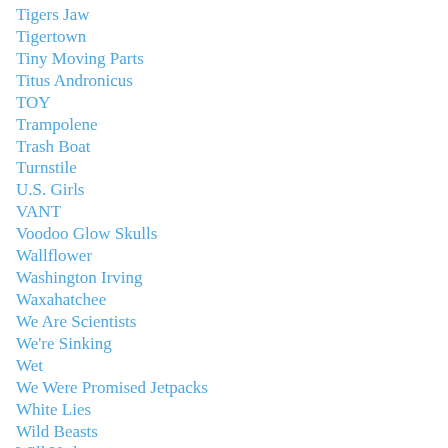Tigers Jaw
Tigertown
Tiny Moving Parts
Titus Andronicus
TOY
Trampolene
Trash Boat
Turnstile
U.S. Girls
VANT
Voodoo Glow Skulls
Wallflower
Washington Irving
Waxahatchee
We Are Scientists
We're Sinking
Wet
We Were Promised Jetpacks
White Lies
Wild Beasts
Will Varley